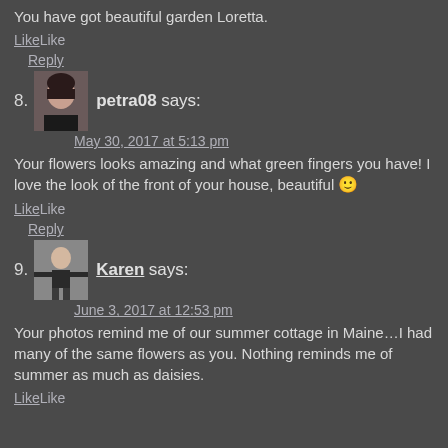You have got beautiful garden Loretta.
LikeLike
Reply
8. petra08 says:
May 30, 2017 at 5:13 pm
Your flowers looks amazing and what green fingers you have! I love the look of the front of your house, beautiful 🙂
LikeLike
Reply
9. Karen says:
June 3, 2017 at 12:53 pm
Your photos remind me of our summer cottage in Maine…I had many of the same flowers as you. Nothing reminds me of summer as much as daisies.
LikeLike